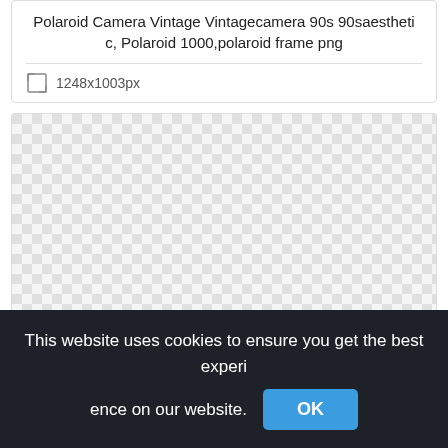Polaroid Camera Vintage Vintagecamera 90s 90saesthetic, Polaroid 1000,polaroid frame png
1248x1003px
[Figure (other): Checkerboard transparency pattern preview area for a PNG image]
This website uses cookies to ensure you get the best experience on our website.